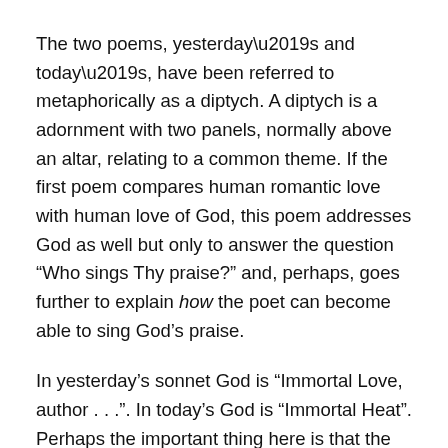The two poems, yesterday’s and today’s, have been referred to metaphorically as a diptych. A diptych is a adornment with two panels, normally above an altar, relating to a common theme. If the first poem compares human romantic love with human love of God, this poem addresses God as well but only to answer the question “Who sings Thy praise?” and, perhaps, goes further to explain how the poet can become able to sing God’s praise.
In yesterday’s sonnet God is “Immortal Love, author . . .”. In today’s God is “Immortal Heat”. Perhaps the important thing here is that the Immortal Heat is Immortal Love.
Heat does several things. It attracts a lesser flame to it – it seems to draw it towards it, an aspect of air pressure in a literal flame. It consumes things – a process of oxidation in